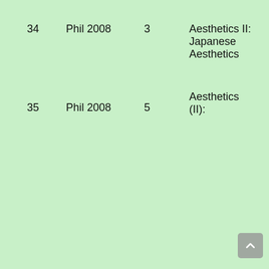|  | Course | Units | Title |
| --- | --- | --- | --- |
| 34 | Phil 2008 | 3 | Aesthetics II: Japanese Aesthetics |
| 35 | Phil 2008 | 5 | Aesthetics (II): |